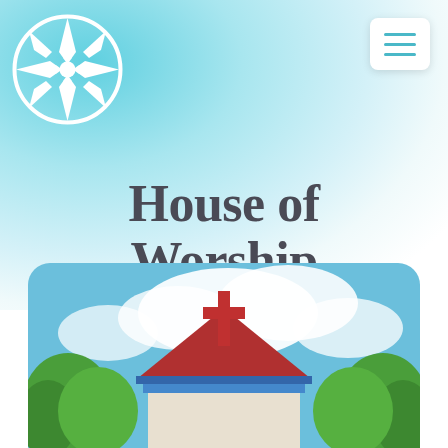[Figure (logo): Circular compass/snowflake logo in white on teal/blue gradient background, top left]
[Figure (other): Hamburger menu icon (three teal horizontal lines) in white rounded rectangle, top right]
House of Worship
1 of 4
[Figure (photo): Photo of a small church building with red cross on rooftop, red/blue roof, surrounded by green trees, blue sky with clouds]